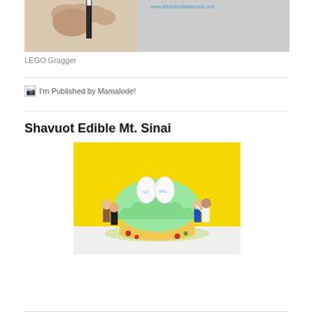[Figure (photo): Hand holding a pencil with www.BibleBenBatabosta.com URL text visible at top right]
LEGO Gragger
[Figure (photo): Broken image placeholder for 'I'm Published by Mamalode!']
Shavuot Edible Mt. Sinai
[Figure (photo): A large cupcake decorated with green frosting resembling a mountain, two white oval tablets with Hebrew text on top, surrounded by LEGO minifigures on a yellow background]